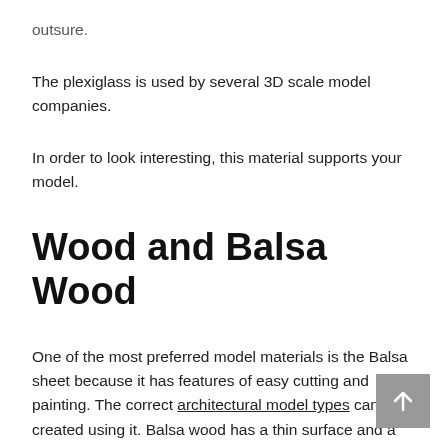outsure.
The plexiglass is used by several 3D scale model companies.
In order to look interesting, this material supports your model.
Wood and Balsa Wood
One of the most preferred model materials is the Balsa sheet because it has features of easy cutting and painting. The correct architectural model types can be created using it. Balsa wood has a thin surface and a variety of weights can be found will find balsa wood both in thin plates and in partial